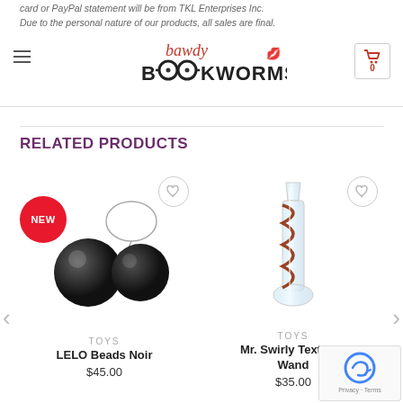card or PayPal statement will be from TKL Enterprises Inc. Due to the personal nature of our products, all sales are final.
[Figure (logo): Bawdy Bookworms logo with text and lipstick kiss mark]
RELATED PRODUCTS
[Figure (photo): LELO Beads Noir - black ben wa balls with retrieval cord, NEW badge, wishlist heart icon]
TOYS
LELO Beads Noir
$45.00
[Figure (photo): Mr. Swirly Textured Wand - glass dildo with red spiral, wishlist heart icon]
TOYS
Mr. Swirly Textured Wand
$35.00